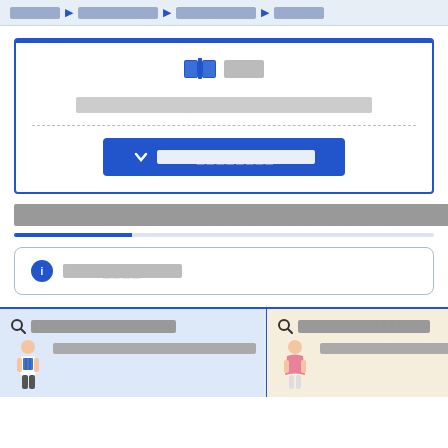██████ ▶ ██████████ ▶ ██████████ ▶ ██████
[Figure (infographic): Card box with book icon, Japanese text title, gray placeholder text, dashed divider, and blue button with chevron icon and Japanese text]
█████████████████████
████ (info card with blue i icon)
[Figure (infographic): Two bottom panel sections side by side: left panel (blue background) with search icon, Japanese heading and figure of male person with Japanese text; right panel (cream background) with search icon, Japanese heading and figure of female person with Japanese text]